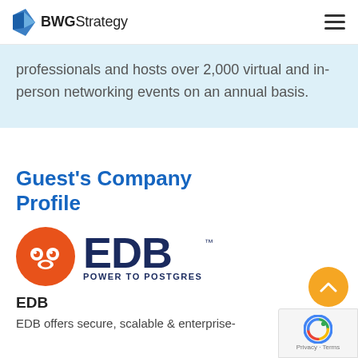BWGStrategy
professionals and hosts over 2,000 virtual and in-person networking events on an annual basis.
Guest's Company Profile
[Figure (logo): EDB logo: orange circle with quotation mark icon, dark blue EDB text with 'POWER TO POSTGRES' tagline]
EDB
EDB offers secure, scalable & enterprise-